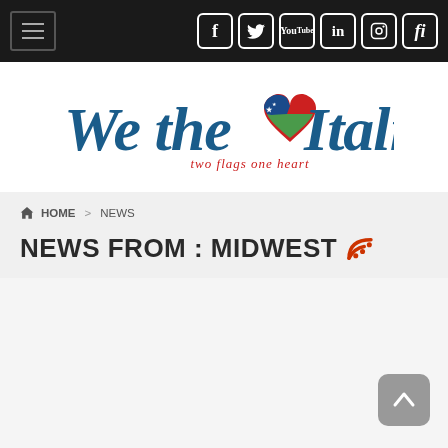Navigation bar with hamburger menu and social media icons (Facebook, Twitter, YouTube, LinkedIn, Instagram, fi)
[Figure (logo): We the Italians logo with heart shape combining American and Italian flag colors, tagline 'two flags one heart']
HOME > NEWS
NEWS FROM : MIDWEST